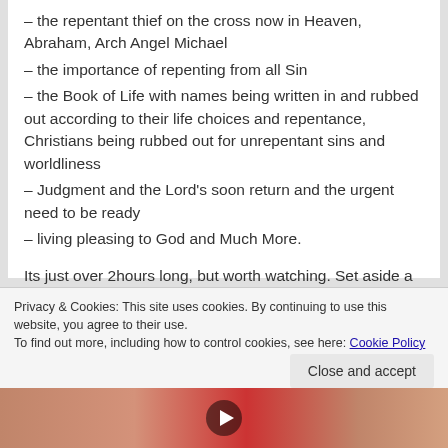– the repentant thief on the cross now in Heaven, Abraham, Arch Angel Michael
– the importance of repenting from all Sin
– the Book of Life with names being written in and rubbed out according to their life choices and repentance, Christians being rubbed out for unrepentant sins and worldliness
– Judgment and the Lord's soon return and the urgent need to be ready
– living pleasing to God and Much More.
Its just over 2hours long, but worth watching. Set aside a time to watch it.
Privacy & Cookies: This site uses cookies. By continuing to use this website, you agree to their use.
To find out more, including how to control cookies, see here: Cookie Policy
[Figure (photo): Thumbnail image of a person with a YouTube play button overlay, partially visible at the bottom of the page]